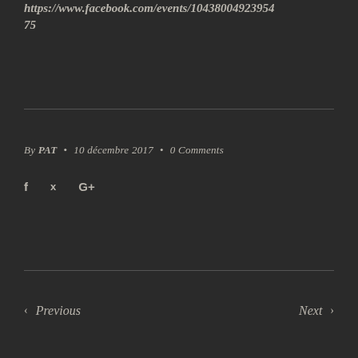https://www.facebook.com/events/10438004923954 75
By PAT • 10 décembre 2017 • 0 Comments
[Figure (other): Social sharing icons: Facebook (f), Twitter (bird), Google+ (G+)]
‹ Previous    Next ›